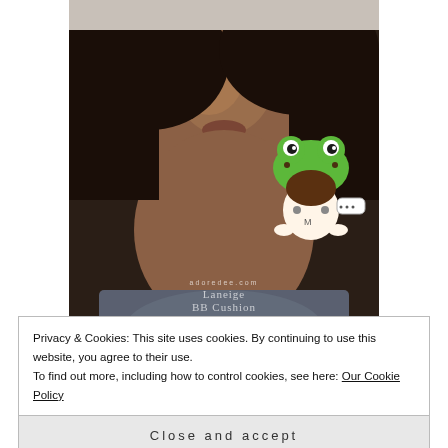[Figure (photo): Close-up photo of a dark-skinned woman from nose down showing her chin/neck area wearing a grey t-shirt. She has white stud earrings. A cartoon frog girl character sticker is overlaid on the right side. Watermark text reads: adoredee.com Laneige BB Cushion Dark]
eek so glowy!
Using thin bouncy layers is new to me, as is using the foam egg, but after a few times of practice I
Privacy & Cookies: This site uses cookies. By continuing to use this website, you agree to their use.
To find out more, including how to control cookies, see here: Our Cookie Policy
Close and accept
to add less than more to help people ahead of